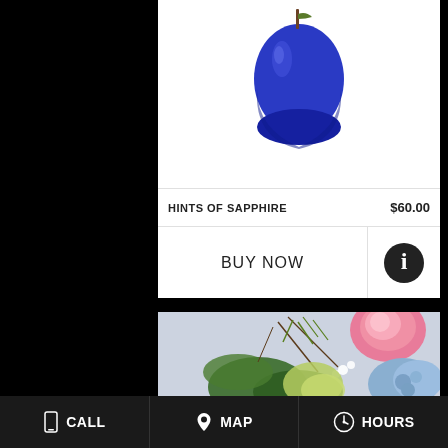[Figure (photo): Blue glass vase with a floral arrangement (hints of sapphire product photo) on white background]
HINTS OF SAPPHIRE    $60.00
BUY NOW
[Figure (photo): Flower arrangement with pink rose, blue hydrangea, white flowers, and green foliage on light blue-grey background]
CALL   MAP   HOURS